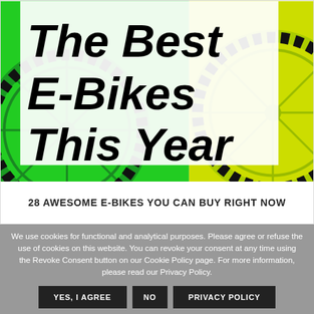[Figure (illustration): Magazine-style article card showing two e-bikes on a green and yellow split background. Large bold italic headline text reads 'The Best E-Bikes This Year' over a white box overlay, with subtitle '28 AWESOME E-BIKES YOU CAN BUY RIGHT NOW' in a white bar below the image.]
28 AWESOME E-BIKES YOU CAN BUY RIGHT NOW
We use cookies for functional and analytical purposes. Please agree or refuse the use of cookies on this website. You can revoke your consent at any time using the Revoke Consent button on our Cookie Policy page. For more information, please read our Privacy Policy.